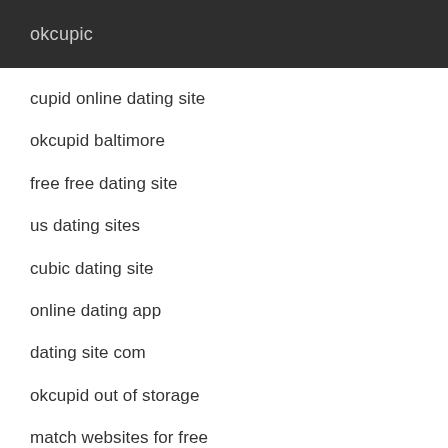okcupic
cupid online dating site
okcupid baltimore
free free dating site
us dating sites
cubic dating site
online dating app
dating site com
okcupid out of storage
match websites for free
opcupid
fake profiles on okcupid